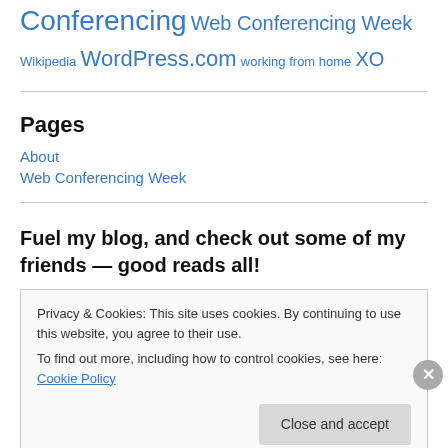Conferencing Web Conferencing Week Wikipedia WordPress.com working from home XO
Pages
About
Web Conferencing Week
Fuel my blog, and check out some of my friends — good reads all!
Privacy & Cookies: This site uses cookies. By continuing to use this website, you agree to their use. To find out more, including how to control cookies, see here: Cookie Policy
Close and accept